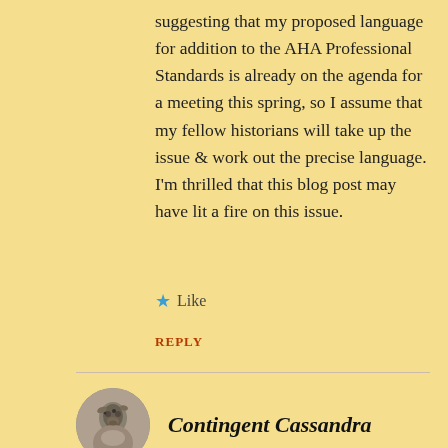suggesting that my proposed language for addition to the AHA Professional Standards is already on the agenda for a meeting this spring, so I assume that my fellow historians will take up the issue & work out the precise language. I'm thrilled that this blog post may have lit a fire on this issue.
Like
REPLY
Contingent Cassandra